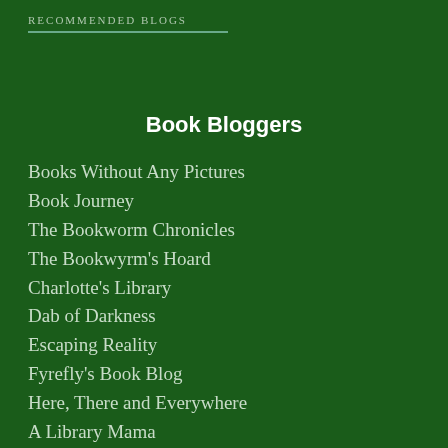RECOMMENDED BLOGS
Book Bloggers
Books Without Any Pictures
Book Journey
The Bookworm Chronicles
The Bookwyrm's Hoard
Charlotte's Library
Dab of Darkness
Escaping Reality
Fyrefly's Book Blog
Here, There and Everywhere
A Library Mama
The Little Red Reviewer
Lynn E. O'Connacht
Lynn's Book Blog
Megwrites